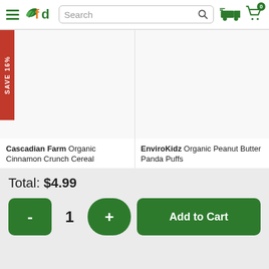fd - Search bar with hamburger menu, logo, search, delivery and cart icons
[Figure (screenshot): Product card 1 (left): Cascadian Farm Organic Cinnamon Crunch Cereal with SAVE 16% red badge]
Cascadian Farm Organic Cinnamon Crunch Cereal
[Figure (screenshot): Product card 2 (right): EnviroKidz Organic Peanut Butter Panda Puffs]
EnviroKidz Organic Peanut Butter Panda Puffs
Total: $4.99
- 1 + Add to Cart